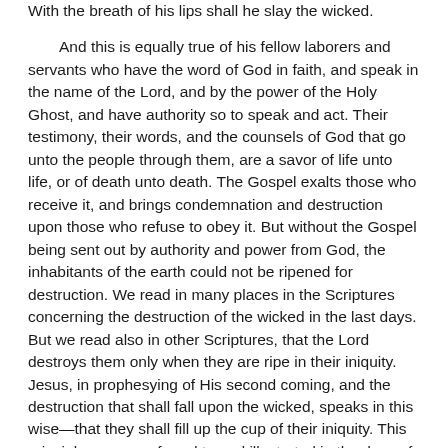With the breath of his lips shall he slay the wicked. And this is equally true of his fellow laborers and servants who have the word of God in faith, and speak in the name of the Lord, and by the power of the Holy Ghost, and have authority so to speak and act. Their testimony, their words, and the counsels of God that go unto the people through them, are a savor of life unto life, or of death unto death. The Gospel exalts those who receive it, and brings condemnation and destruction upon those who refuse to obey it. But without the Gospel being sent out by authority and power from God, the inhabitants of the earth could not be ripened for destruction. We read in many places in the Scriptures concerning the destruction of the wicked in the last days. But we read also in other Scriptures, that the Lord destroys them only when they are ripe in their iniquity. Jesus, in prophesying of His second coming, and the destruction that shall fall upon the wicked, speaks in this wise—that they shall fill up the cup of their iniquity. This principle we see referred to and illustrated in the days of Abraham. The Lord promised unto him the land of Canaan for an everlasting possession. Nevertheless, his seed must be brought into bondage in Egypt, and remain there until those who dwelt in the land of Canaan had filled up the cup of their iniquity. The people were not yet ripe for destruction, and therefore the Lord could not displace them and put Abraham